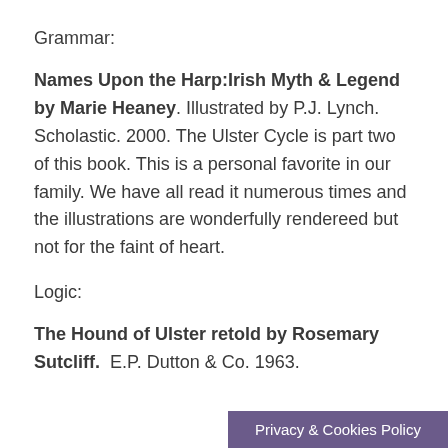Grammar:
Names Upon the Harp:Irish Myth & Legend by Marie Heaney. Illustrated by P.J. Lynch. Scholastic. 2000. The Ulster Cycle is part two of this book. This is a personal favorite in our family. We have all read it numerous times and the illustrations are wonderfully rendereed but not for the faint of heart.
Logic:
The Hound of Ulster retold by Rosemary Sutcliff.  E.P. Dutton & Co. 1963.
Privacy & Cookies Policy